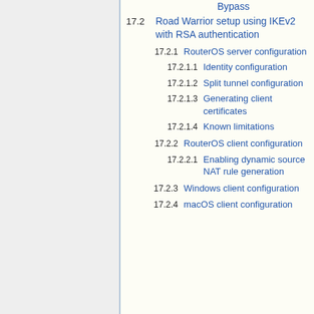Bypass
17.2  Road Warrior setup using IKEv2 with RSA authentication
17.2.1  RouterOS server configuration
17.2.1.1  Identity configuration
17.2.1.2  Split tunnel configuration
17.2.1.3  Generating client certificates
17.2.1.4  Known limitations
17.2.2  RouterOS client configuration
17.2.2.1  Enabling dynamic source NAT rule generation
17.2.3  Windows client configuration
17.2.4  macOS client configuration